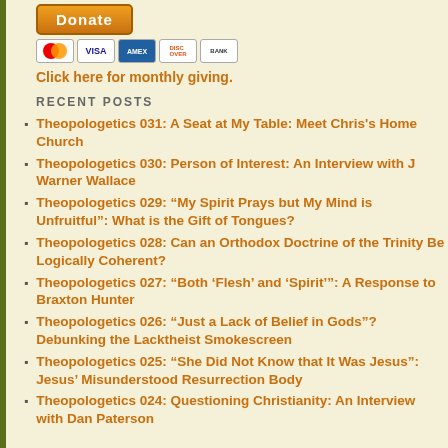[Figure (other): Donate button with PayPal and payment icons (MasterCard, Visa, Amex, Discover, Bank)]
Click here for monthly giving.
RECENT POSTS
Theopologetics 031: A Seat at My Table: Meet Chris's Home Church
Theopologetics 030: Person of Interest: An Interview with J Warner Wallace
Theopologetics 029: “My Spirit Prays but My Mind is Unfruitful”: What is the Gift of Tongues?
Theopologetics 028: Can an Orthodox Doctrine of the Trinity Be Logically Coherent?
Theopologetics 027: “Both ‘Flesh’ and ‘Spirit’”: A Response to Braxton Hunter
Theopologetics 026: “Just a Lack of Belief in Gods”? Debunking the Lacktheist Smokescreen
Theopologetics 025: “She Did Not Know that It Was Jesus”: Jesus’ Misunderstood Resurrection Body
Theopologetics 024: Questioning Christianity: An Interview with Dan Paterson